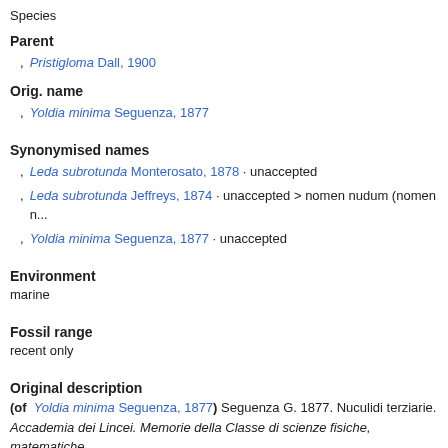Species
Parent
Pristigloma Dall, 1900
Orig. name
Yoldia minima Seguenza, 1877
Synonymised names
Leda subrotunda Monterosato, 1878 · unaccepted
Leda subrotunda Jeffreys, 1874 · unaccepted > nomen nudum (nomen n...
Yoldia minima Seguenza, 1877 · unaccepted
Environment
marine
Fossil range
recent only
Original description
(of Yoldia minima Seguenza, 1877) Seguenza G. 1877. Nuculidi terziarie. Accademia dei Lincei. Memorie della Classe di scienze fisiche, matematiche online at http://emeroteca.braidense.it/ricerche/full_screen.php?img=/export 1877_274_001_000/ART008716.djvu page(s): 1178, pl. 5 fig. 27, 27a, 27b, 27c [details]
Taxonomic citation
MolluscaBase eds. (2021). MolluscaBase. Pristigloma minima (Seguenza, 1... Boxshall, G.; Arvanitidis, C.; Appeltans, W. (2021) European Register of M...